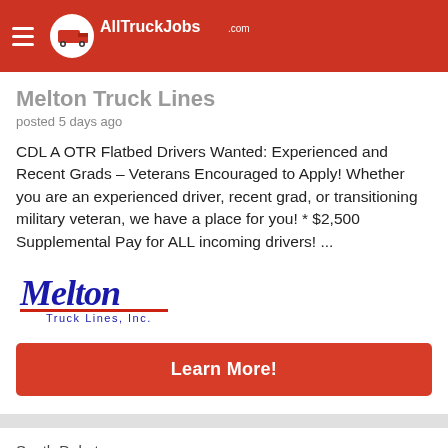AllTruckJobs.com
Melton Truck Lines
posted 5 days ago
CDL A OTR Flatbed Drivers Wanted: Experienced and Recent Grads – Veterans Encouraged to Apply! Whether you are an experienced driver, recent grad, or transitioning military veteran, we have a place for you! * $2,500 Supplemental Pay for ALL incoming drivers! ...
[Figure (logo): Melton Truck Lines, Inc. logo in blue and red italic script]
Learn More!
South Dakota
Class A CDL Students in South